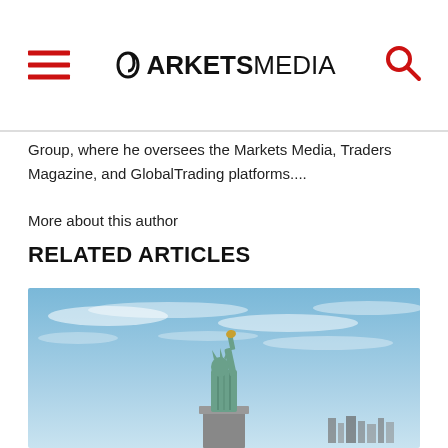MARKETSMEDIA
Group, where he oversees the Markets Media, Traders Magazine, and GlobalTrading platforms....
More about this author
RELATED ARTICLES
[Figure (photo): Photograph of the Statue of Liberty against a blue sky with wispy clouds]